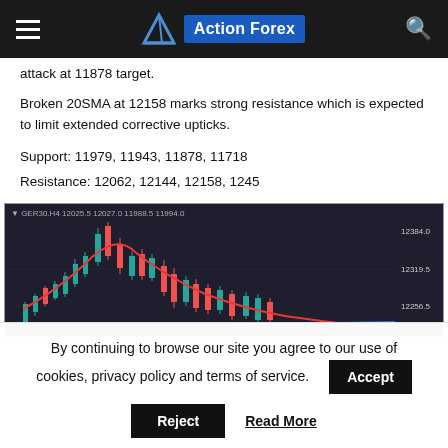Action Forex
attack at 11878 target.
Broken 20SMA at 12158 marks strong resistance which is expected to limit extended corrective upticks.
Support: 11979, 11943, 11878, 11718
Resistance: 12062, 12144, 12158, 1245
[Figure (screenshot): GER30 H4 candlestick chart showing price action with a red moving average curve. Price data shows GER30.H4 12025.5 12027.0 11988.5 11994.0. Y-axis shows 12256.5, 12319.5, 12384.0.]
By continuing to browse our site you agree to our use of cookies, privacy policy and terms of service.